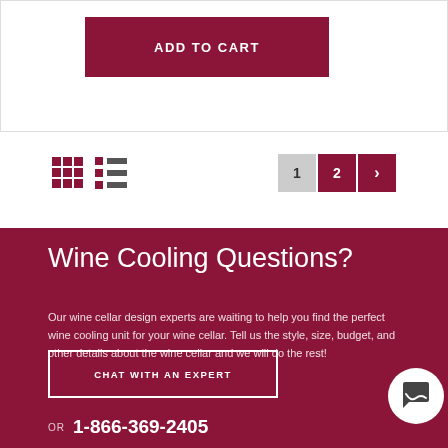ADD TO CART
[Figure (other): Grid view and list view toggle icons, and pagination controls showing pages 1 and 2 with a next arrow]
Wine Cooling Questions?
Our wine cellar design experts are waiting to help you find the perfect wine cooling unit for your wine cellar. Tell us the style, size, budget, and other details about the wine cellar and we will do the rest!
CHAT WITH AN EXPERT
OR 1-866-369-2405